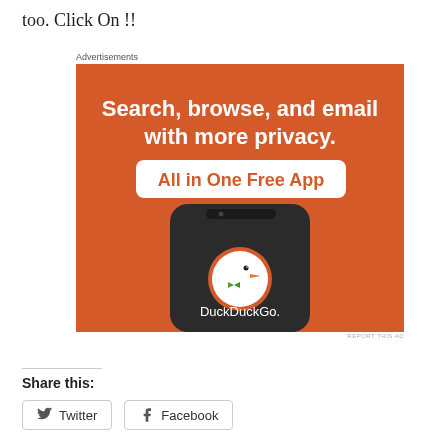too. Click On !!
[Figure (screenshot): DuckDuckGo advertisement showing a smartphone with DuckDuckGo app. Orange background with white bold text reading 'Search, browse, and email with more privacy.' and a white pill button with orange text 'All in One Free App'. The phone displays the DuckDuckGo duck logo and the text 'DuckDuckGo.' Below: 'REPORT THIS AD' in small text.]
Share this:
Twitter
Facebook